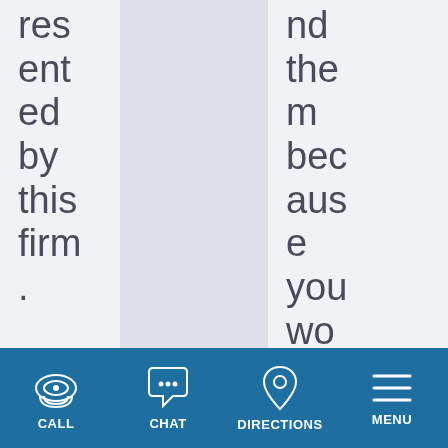res
ent
ed
by
this
firm
.

-

Re
na
nd
the
m
bec
aus
e
you
wo
n't
be
disa
CALL    CHAT    DIRECTIONS    MENU